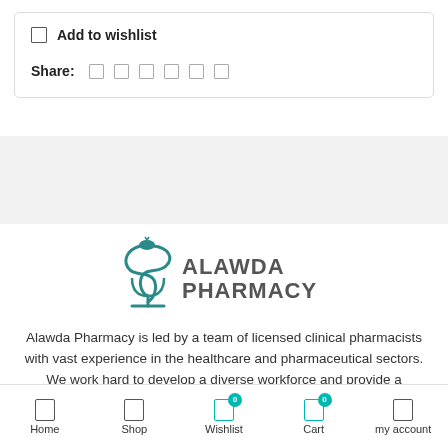Add to wishlist
Share:
[Figure (logo): Alawda Pharmacy logo with teal snake-and-cup symbol and text ALAWDA PHARMACY]
Alawda Pharmacy is led by a team of licensed clinical pharmacists with vast experience in the healthcare and pharmaceutical sectors. We work hard to develop a diverse workforce and provide a workplace that empowers all of our
Home  Shop  Wishlist 0  Cart 0  my account